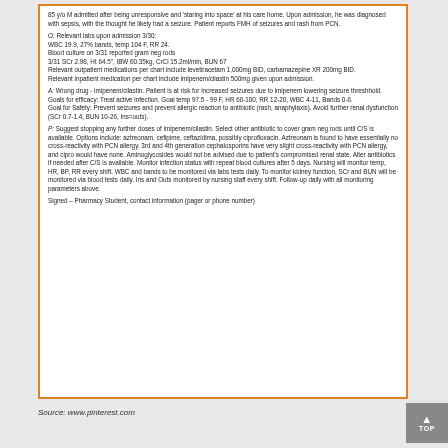85 y/o M admitted after being unresponsive and 'staring into space' at his care home. Upon admission, he was diagnosed with sepsis, with the thought he likely had a seizure. Patient reports FMH of seizures and rash from PCN.
O: Relevant labs upon admission 3/30: WBC 19.9, 27% bands, temp 104 F, RR 24. Blood culture on 3/31 reported gram neg rods 3/31 SCr 2.98, Ht 64.5", IBW 60.35kg, CrCl 15.2ml/min, BUN 67 Relevant outpatient medications per chart include levetiracetam 1,000mg BID, carbamazepine XR 200mg BID. Relevant inpatient medication per chart include imipenem/cilastin 500mg given upon admission.
A: Wrong drug - imipenem/cilastin. Patient is at risk for increased seizures due to imipenem lowering seizure threshhold. Goals for efficacy: Treat active infection. Goal temp 97.5 - 99 F, HR 60-100, RR 12-20, WBC 4-11, Bands 0-6. Goal for Safety: Prevent seizures and prevent allergic reaction to antibiotic (rash, anaphylaxis). Avoid further renal dysfunction (SCr 0.7-1.4, BUN 10-26, Ins=outs).
P: Suggest stopping any further doses of imipenem/cilastin. Select other antibiotic to cover gram neg rods until C/S is available. Options include: aztreonam, cefipime, ceftazidima, possibly ciprofloxacin. Aztreonam is found to have essentially no cross-reactivity with PCN allergy. 3rd and 4th generation cephalosporins have very slight cross-reactivity with PCN allergy, and cipro would have none. Aminoglycosides would not be advised due to patient's compromised renal state. Alter antibiotics if needed after C/S is available. Monitor infection status with repeat blood cultures after 5 days. Nursing will monitor temp, HR, BP, RR every shift. WBC and bands to be monitored via labs tests daily. To monitor kidney function, SCr and BUN will be monitored via blood tests daily. Ins and Outs monitored by nursing staff every shift. Follow-up daily with all monitoring parameters above.
Signed – Pharmacy Student, contact information (pager or phone number)
Source: www.pinterest.com